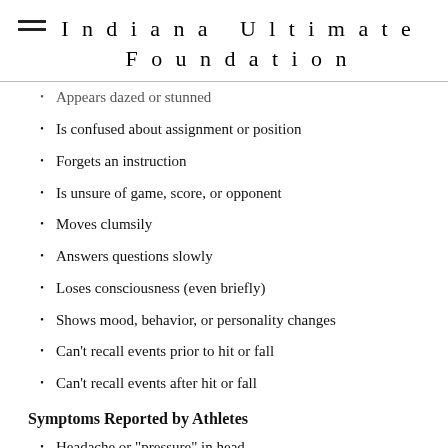Indiana Ultimate Foundation
Appears dazed or stunned
Is confused about assignment or position
Forgets an instruction
Is unsure of game, score, or opponent
Moves clumsily
Answers questions slowly
Loses consciousness (even briefly)
Shows mood, behavior, or personality changes
Can't recall events prior to hit or fall
Can't recall events after hit or fall
Symptoms Reported by Athletes
Headache or "pressure" in head
Nausea or vomiting
Balance problems or dizziness
Double or blurry vision
Sensitivity to light